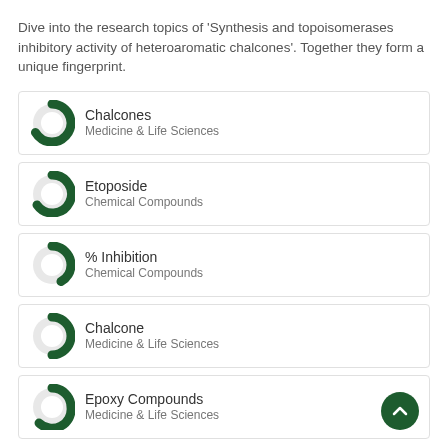Dive into the research topics of 'Synthesis and topoisomerases inhibitory activity of heteroaromatic chalcones'. Together they form a unique fingerprint.
Chalcones — Medicine & Life Sciences
Etoposide — Chemical Compounds
% Inhibition — Chemical Compounds
Chalcone — Medicine & Life Sciences
Epoxy Compounds — Medicine & Life Sciences